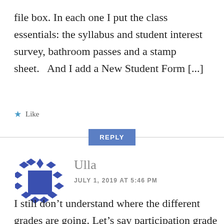file box. In each one I put the class essentials: the syllabus and student interest survey, bathroom passes and a stamp sheet.   And I add a New Student Form [...]
★ Like
REPLY
[Figure (illustration): Blue geometric avatar icon with diamond shapes surrounding a central square]
Ulla
JULY 1, 2019 AT 5:46 PM
I still don’t understand where the different grades are going. Let’s say participation grade – what category is it in? Would that be in the practice section? Or